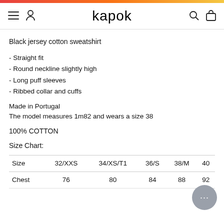kapok
Black jersey cotton sweatshirt
- Straight fit
- Round neckline slightly high
- Long puff sleeves
- Ribbed collar and cuffs
Made in Portugal
The model measures 1m82 and wears a size 38
100% COTTON
Size Chart:
| Size | 32/XXS | 34/XS/T1 | 36/S | 38/M | 40 |
| --- | --- | --- | --- | --- | --- |
| Chest | 76 | 80 | 84 | 88 | 92 |